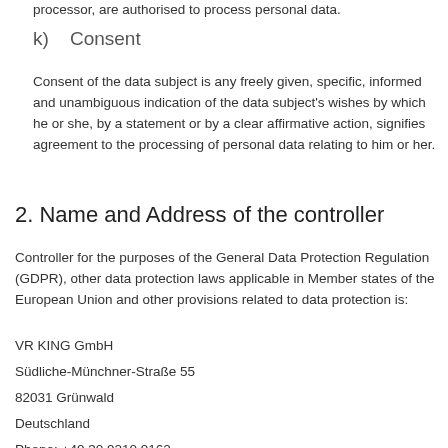processor, are authorised to process personal data.
k)    Consent
Consent of the data subject is any freely given, specific, informed and unambiguous indication of the data subject's wishes by which he or she, by a statement or by a clear affirmative action, signifies agreement to the processing of personal data relating to him or her.
2. Name and Address of the controller
Controller for the purposes of the General Data Protection Regulation (GDPR), other data protection laws applicable in Member states of the European Union and other provisions related to data protection is:
VR KING GmbH
Südliche-Münchner-Straße 55
82031 Grünwald
Deutschland
Phone: +49 30 9210 9162